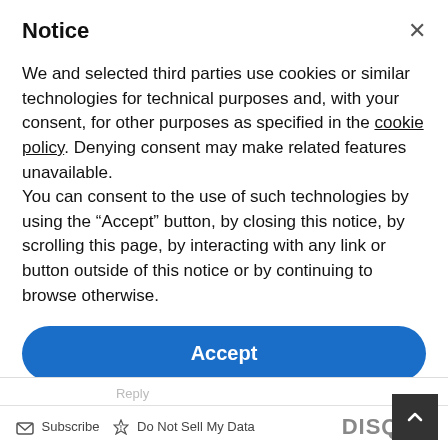Notice
We and selected third parties use cookies or similar technologies for technical purposes and, with your consent, for other purposes as specified in the cookie policy. Denying consent may make related features unavailable.
You can consent to the use of such technologies by using the “Accept” button, by closing this notice, by scrolling this page, by interacting with any link or button outside of this notice or by continuing to browse otherwise.
Accept
Learn more and customize
Reply
Subscribe   Do Not Sell My Data   DISQUS